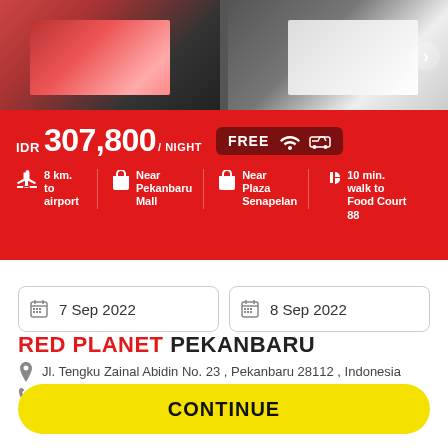[Figure (photo): Top image strip showing hotel interior and exterior photos]
IDR 307,800 / NIGHT  FREE [WiFi] [Parking]
8 km. to airport | Near Pekanbaru Mall | Near Plaza Senapelan | 10 min. walk to Food Court 88
7 Sep 2022
8 Sep 2022
RED PLANET PEKANBARU
Jl. Tengku Zainal Abidin No. 23 , Pekanbaru 28112 , Indonesia
+62 761 851 008
CONTINUE